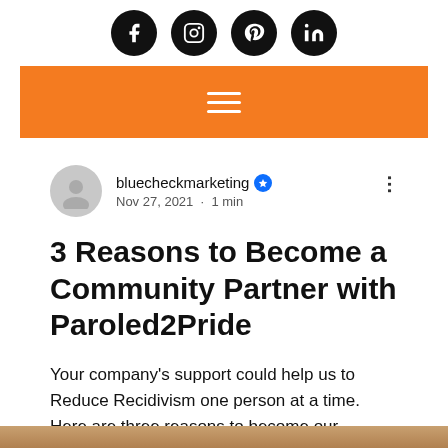[Figure (other): Social media icons: Facebook, Instagram, Pinterest, LinkedIn — black circles with white icons]
[Figure (other): Orange navigation bar with white hamburger menu icon (three horizontal lines)]
bluecheckmarketing ✦  Nov 27, 2021 · 1 min
3 Reasons to Become a Community Partner with Paroled2Pride
Your company's support could help us to Reduce Recidivism one person at a time. Here are three reasons to become our community partner: